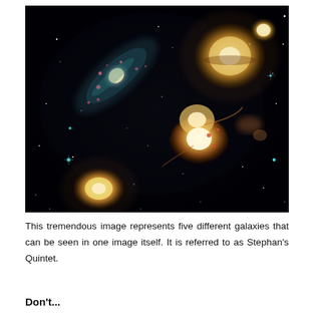[Figure (photo): Hubble Space Telescope image of Stephan's Quintet — five galaxies visible in a single frame against a black starfield. A spiral galaxy with teal/blue and pink star-forming regions crosses diagonally at upper left, two large elliptical/lenticular golden galaxies appear at upper right, a merging pair of galaxies glows in the center-right, and a smaller golden elliptical galaxy sits at the lower left. Multiple stars and background galaxies dot the image.]
This tremendous image represents five different galaxies that can be seen in one image itself. It is referred to as Stephan's Quintet.
Don't...